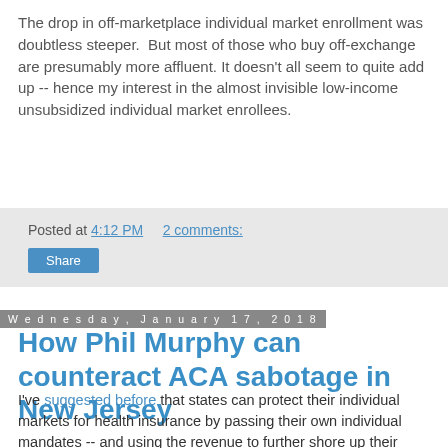The drop in off-marketplace individual market enrollment was doubtless steeper.  But most of those who buy off-exchange are presumably more affluent. It doesn't all seem to quite add up -- hence my interest in the almost invisible low-income unsubsidized individual market enrollees.
Posted at 4:12 PM    2 comments:
Share
Wednesday, January 17, 2018
How Phil Murphy can counteract ACA sabotage in New Jersey
I've suggested before that states can protect their individual markets for health insurance by passing their own individual mandates -- and using the revenue to further shore up their individual markets. In NJ Spotlight, I make the case specifically for New Jersey.